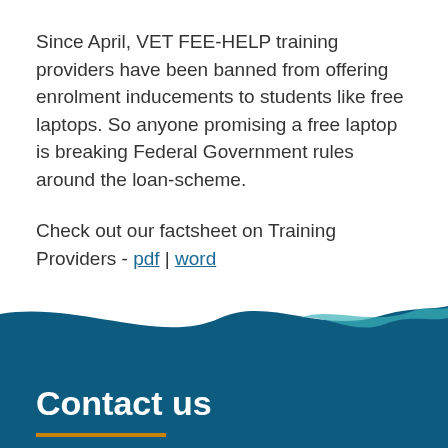Since April, VET FEE-HELP training providers have been banned from offering enrolment inducements to students like free laptops. So anyone promising a free laptop is breaking Federal Government rules around the loan-scheme.
Check out our factsheet on Training Providers - pdf | word
Contact us